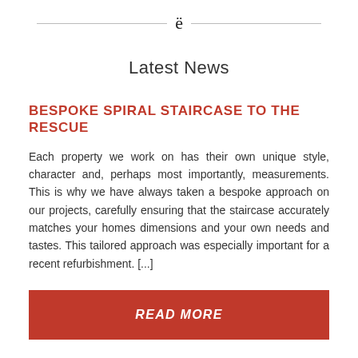ℭ
Latest News
BESPOKE SPIRAL STAIRCASE TO THE RESCUE
Each property we work on has their own unique style, character and, perhaps most importantly, measurements. This is why we have always taken a bespoke approach on our projects, carefully ensuring that the staircase accurately matches your homes dimensions and your own needs and tastes. This tailored approach was especially important for a recent refurbishment. [...]
READ MORE